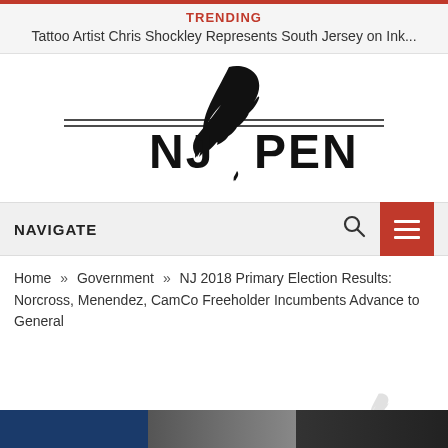TRENDING
Tattoo Artist Chris Shockley Represents South Jersey on Ink...
[Figure (logo): NJ Pen logo with quill pen and double horizontal rule]
NAVIGATE
Home » Government » NJ 2018 Primary Election Results: Norcross, Menendez, CamCo Freeholder Incumbents Advance to General